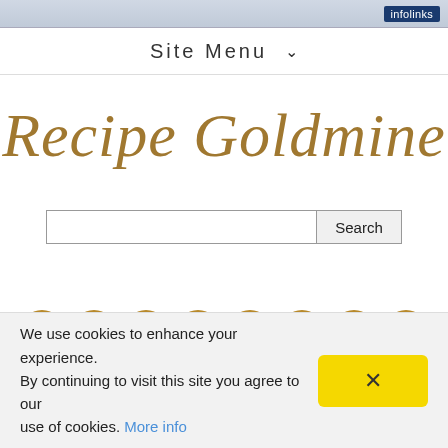infolinks
Site Menu ∨
Recipe Goldmine
[Figure (screenshot): Search input box and Search button]
[Figure (infographic): Row of 8 circular social sharing icons in gold/brown color]
We use cookies to enhance your experience. By continuing to visit this site you agree to our use of cookies. More info